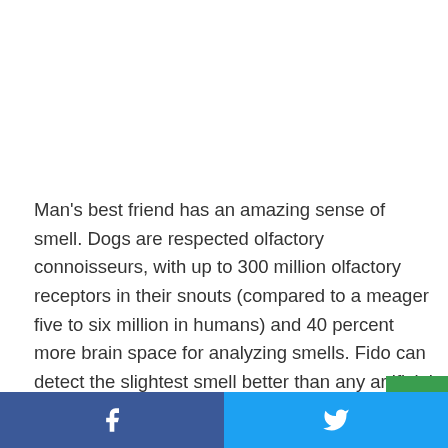Man's best friend has an amazing sense of smell. Dogs are respected olfactory connoisseurs, with up to 300 million olfactory receptors in their snouts (compared to a meager five to six million in humans) and 40 percent more brain space for analyzing smells. Fido can detect the slightest smell better than any artificial instrument. It's a super canine ability that we've used to find missing people (call Lassie), locate illega…
Facebook | Twitter